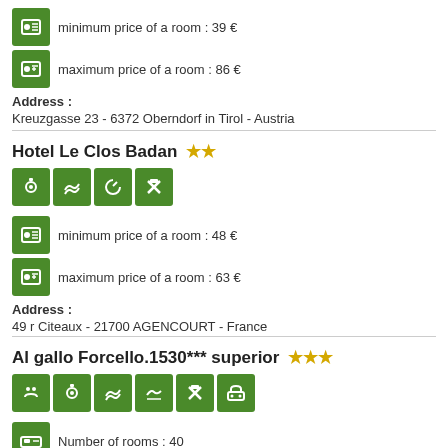minimum price of a room : 39 €
maximum price of a room : 86 €
Address :
Kreuzgasse 23 - 6372 Oberndorf in Tirol - Austria
Hotel Le Clos Badan ★★
minimum price of a room : 48 €
maximum price of a room : 63 €
Address :
49 r Citeaux - 21700 AGENCOURT - France
Al gallo Forcello.1530*** superior ★★★
Number of rooms : 40
Address :
Loc. Passo Pramollo, 5 - 33016 PONTEBBA (UD) - Italy
Wright by the sea ★★